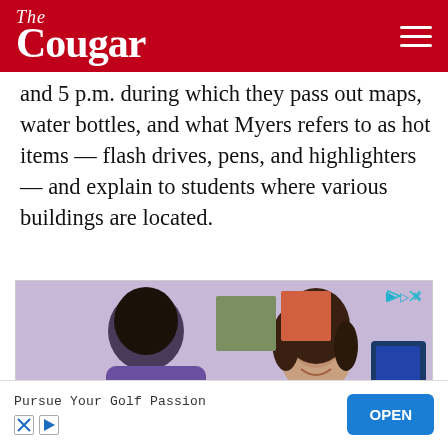The Cougar
and 5 p.m. during which they pass out maps, water bottles, and what Myers refers to as hot items — flash drives, pens, and highlighters — and explain to students where various buildings are located.
[Figure (photo): Two women in an office or classroom setting, one leaning over and one seated smiling, with a computer monitor visible in background. Advertisement for K-12 superintendent content.]
Make the first 100 days of a new K-12 superintendent's tenure count.
Pursue Your Golf Passion